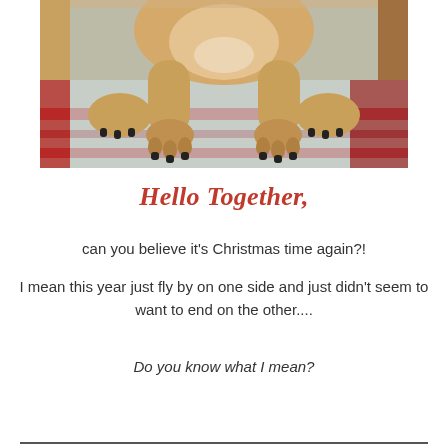[Figure (photo): A puppy (appears to be a yellow Labrador) sitting on a plaid blanket, photographed from above showing the torso, belly, front paws and back legs. The plaid blanket has red and blue/gray checks. Wooden furniture visible in background.]
Hello Together,
can you believe it's Christmas time again?!
I mean this year just fly by on one side and just didn't seem to want to end on the other....
Do you know what I mean?